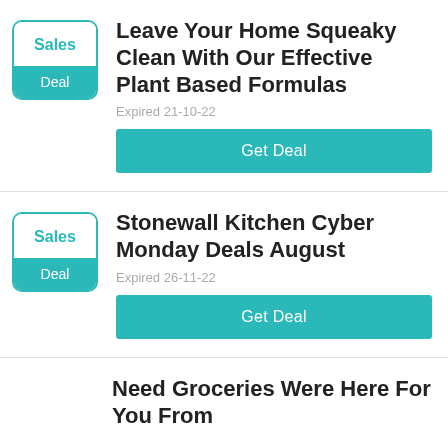Leave Your Home Squeaky Clean With Our Effective Plant Based Formulas — Sales / Deal — Expired 21-10-22 — Get Deal
Stonewall Kitchen Cyber Monday Deals August — Sales / Deal — Expired 26-11-22 — Get Deal
Need Groceries Were Here For You From…